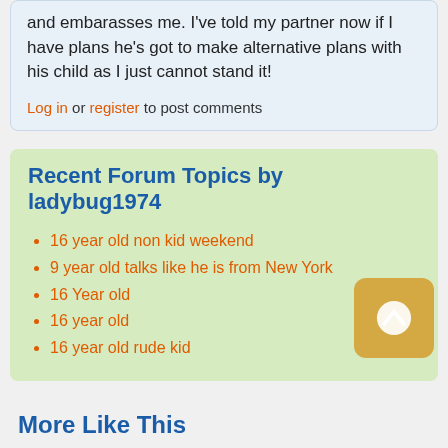and embarasses me. I've told my partner now if I have plans he's got to make alternative plans with his child as I just cannot stand it!
Log in or register to post comments
Recent Forum Topics by ladybug1974
16 year old non kid weekend
9 year old talks like he is from New York
16 Year old
16 year old
16 year old rude kid
More Like This